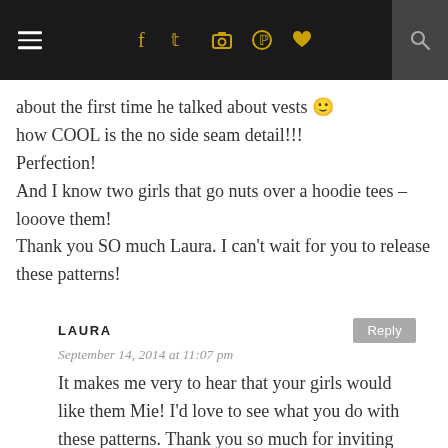Navigation bar with hamburger menu, social icons (f, twitter, instagram, pinterest, heart), and search
about the first time he talked about vests 🙂 how COOL is the no side seam detail!!! Perfection!
And I know two girls that go nuts over a hoodie tees – looove them!
Thank you SO much Laura. I can't wait for you to release these patterns!
LAURA
September 14, 2014 at 11:07 pm
It makes me very to hear that your girls would like them Mie! I'd love to see what you do with these patterns. Thank you so much for inviting me to